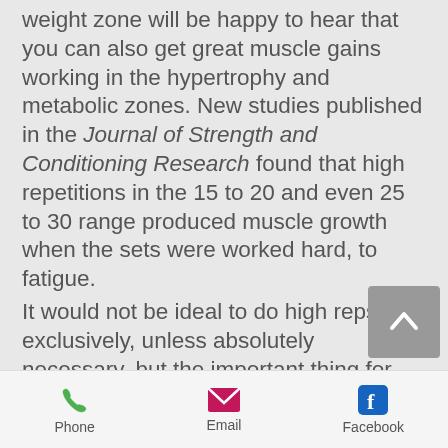weight zone will be happy to hear that you can also get great muscle gains working in the hypertrophy and metabolic zones. New studies published in the Journal of Strength and Conditioning Research found that high repetitions in the 15 to 20 and even 25 to 30 range produced muscle growth when the sets were worked hard, to fatigue.
It would not be ideal to do high reps exclusively, unless absolutely necessary, but the important thing for making gains is progression, and increasing the reps at the same weight, regardless of the rep range, is
Phone | Email | Facebook